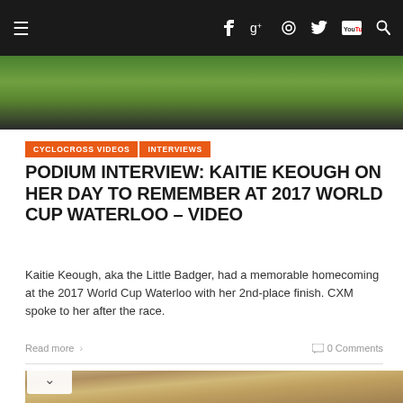Navigation bar with hamburger menu, social icons (Facebook, Google+, Instagram, Twitter, YouTube) and search
[Figure (photo): Top portion of a photo showing a person in a green cycling jersey]
CYCLOCROSS VIDEOS
INTERVIEWS
PODIUM INTERVIEW: KAITIE KEOUGH ON HER DAY TO REMEMBER AT 2017 WORLD CUP WATERLOO – VIDEO
Kaitie Keough, aka the Little Badger, had a memorable homecoming at the 2017 World Cup Waterloo with her 2nd-place finish. CXM spoke to her after the race.
Read more  0 Comments
[Figure (photo): Bottom portion showing the top of a person's head with brown hair, partial view]